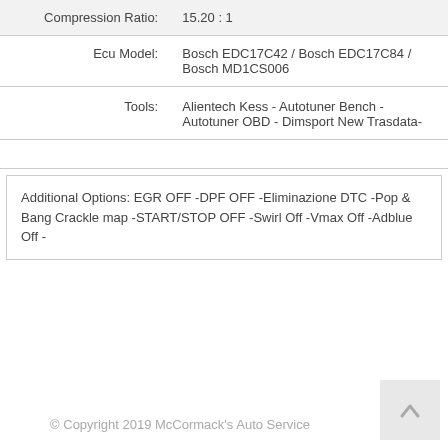| Label | Value |
| --- | --- |
| Compression Ratio: | 15.20 : 1 |
| Ecu Model: | Bosch EDC17C42 / Bosch EDC17C84 / Bosch MD1CS006 |
| Tools: | Alientech Kess - Autotuner Bench - Autotuner OBD - Dimsport New Trasdata- |
Additional Options: EGR OFF -DPF OFF -Eliminazione DTC -Pop & Bang Crackle map -START/STOP OFF -Swirl Off -Vmax Off -Adblue Off -
© Copyright 2019 McCormack's Auto Service